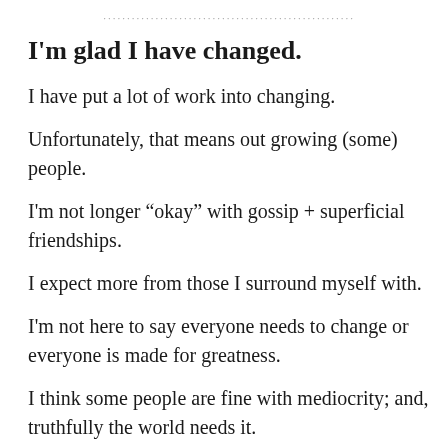I'm glad I have changed.
I have put a lot of work into changing.
Unfortunately, that means out growing (some) people.
I'm not longer “okay” with gossip + superficial friendships.
I expect more from those I surround myself with.
I'm not here to say everyone needs to change or everyone is made for greatness.
I think some people are fine with mediocrity; and, truthfully the world needs it.
But th...